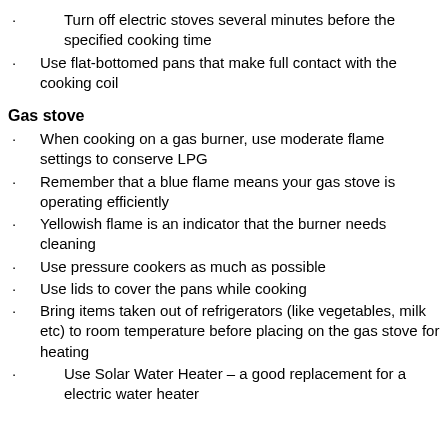Turn off electric stoves several minutes before the specified cooking time
Use flat-bottomed pans that make full contact with the cooking coil
Gas stove
When cooking on a gas burner, use moderate flame settings to conserve LPG
Remember that a blue flame means your gas stove is operating efficiently
Yellowish flame is an indicator that the burner needs cleaning
Use pressure cookers as much as possible
Use lids to cover the pans while cooking
Bring items taken out of refrigerators (like vegetables, milk etc) to room temperature before placing on the gas stove for heating
Use Solar Water Heater – a good replacement for a electric water heater